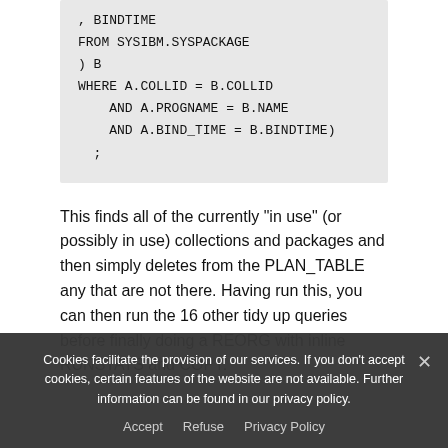[Figure (screenshot): Code block showing SQL snippet: , BINDTIME / FROM SYSIBM.SYSPACKAGE / ) B / WHERE A.COLLID = B.COLLID / AND A.PROGNAME = B.NAME / AND A.BIND_TIME = B.BINDTIME) / ;]
This finds all of the currently "in use" (or possibly in use) collections and packages and then simply deletes from the PLAN_TABLE any that are not there. Having run this, you can then run the 16 other tidy up queries before finally doing a REORG with inline RUNSTATS and COPY.
Cookies facilitate the provision of our services. If you don't accept cookies, certain features of the website are not available. Further information can be found in our privacy policy.
Accept   Refuse   Privacy Policy